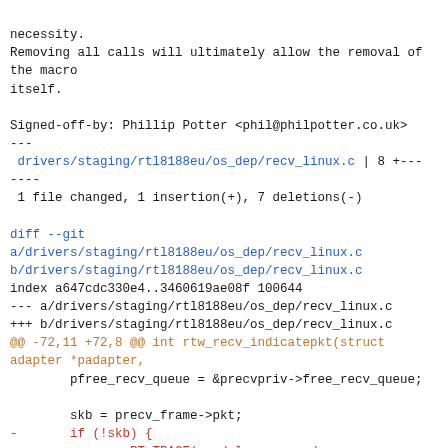necessity.
Removing all calls will ultimately allow the removal of the macro
itself.

Signed-off-by: Phillip Potter <phil@philpotter.co.uk>
---
 drivers/staging/rtl8188eu/os_dep/recv_linux.c | 8 +--------
 1 file changed, 1 insertion(+), 7 deletions(-)

diff --git
a/drivers/staging/rtl8188eu/os_dep/recv_linux.c
b/drivers/staging/rtl8188eu/os_dep/recv_linux.c
index a647cdc330e4..3460619ae08f 100644
--- a/drivers/staging/rtl8188eu/os_dep/recv_linux.c
+++ b/drivers/staging/rtl8188eu/os_dep/recv_linux.c
@@ -72,11 +72,8 @@ int rtw_recv_indicatepkt(struct adapter *padapter,
        pfree_recv_queue = &precvpriv->free_recv_queue;

        skb = precv_frame->pkt;
-       if (!skb) {
-               RT_TRACE(_module_recv_osdep_c_,
_drv_err_,
-                               ("%s():skb == NULL something wrong!!!!
", __func__));
+       if (!skb)
               goto _recv_indicatepkt_drop;
-       }